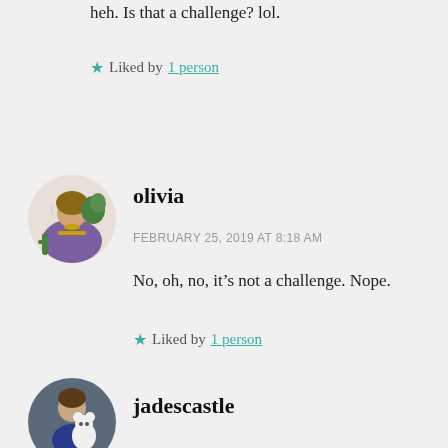heh. Is that a challenge? lol.
★ Liked by 1 person
[Figure (illustration): Circular avatar of user olivia showing a colorful folk art illustration of a seated figure in purple robes]
olivia
FEBRUARY 25, 2019 AT 8:18 AM
No, oh, no, it’s not a challenge. Nope.
★ Liked by 1 person
[Figure (photo): Circular avatar of user jadescastle showing a person with a white stuffed animal]
jadescastle